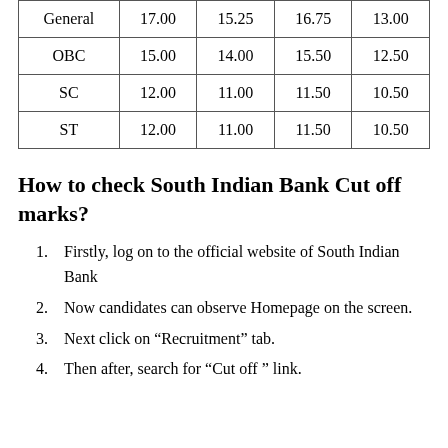| General | 17.00 | 15.25 | 16.75 | 13.00 |
| OBC | 15.00 | 14.00 | 15.50 | 12.50 |
| SC | 12.00 | 11.00 | 11.50 | 10.50 |
| ST | 12.00 | 11.00 | 11.50 | 10.50 |
How to check South Indian Bank Cut off marks?
Firstly, log on to the official website of South Indian Bank
Now candidates can observe Homepage on the screen.
Next click on “Recruitment” tab.
Then after, search for “Cut off ” link.